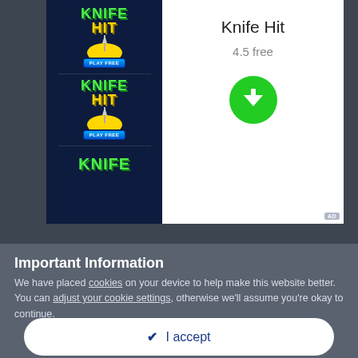[Figure (screenshot): Advertisement for 'Knife Hit' mobile game showing repeated game logo on dark blue background on left, and white panel on right with title 'Knife Hit', rating '4.5 free', and green circular download button. Small 'AD' badge in bottom right corner.]
Knife Hit
4.5 free
Important Information
We have placed cookies on your device to help make this website better. You can adjust your cookie settings, otherwise we'll assume you're okay to continue.
✔  I accept